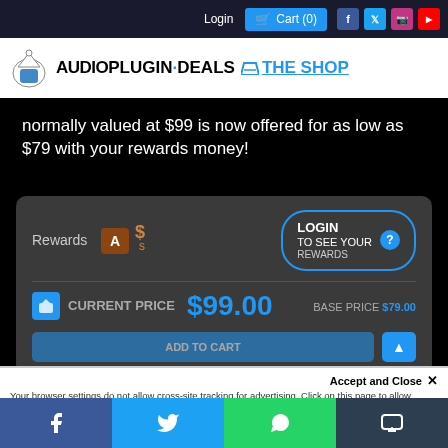Login  Cart (0)  [Facebook] [Twitter] [Instagram] [YouTube]
[Figure (logo): AudioPlugin.Deals THE SHOP logo with speaker/alarm bell icon and shopping cart icon]
normally valued at $99 is now offered for as low as $79 with your rewards money!
[Figure (screenshot): Product purchase card showing Rewards section with login button, CURRENT PRICE $99.00, BASE PRICE $79.00, and ADD TO CART button]
Accept and Close ✕
Your browser settings do not allow cross-site tracking for advertising. Click on this page to allow AdRoll to use cross-site tracking to tailor ads to you. Learn more or opt out of this AdRoll tracking by clicking here. This message only appears once.
Our Back to School mega event is on! Use code APD-BACK2SCHOOL22 at checkout to get 15% off...
[Figure (infographic): Bottom social share bar with Facebook (blue), Twitter (light blue), WhatsApp (green), and SMS (dark) buttons]